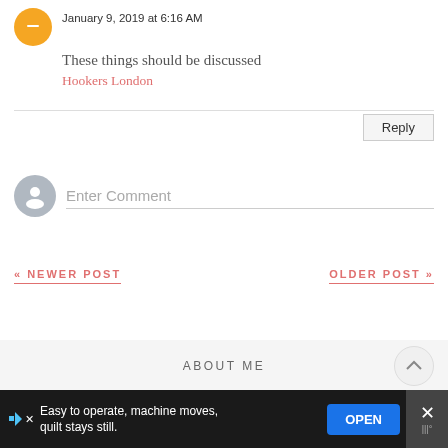January 9, 2019 at 6:16 AM
These things should be discussed
Hookers London
Reply
Enter Comment
« NEWER POST
OLDER POST »
ABOUT ME
Easy to operate, machine moves, quilt stays still.
OPEN